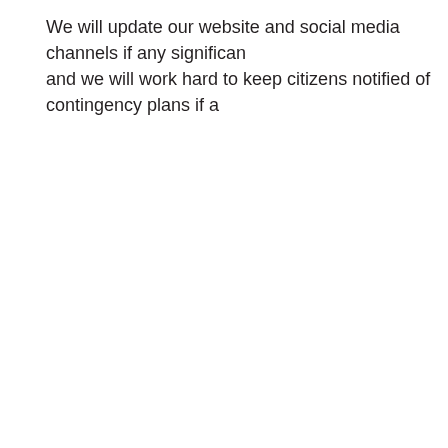We will update our website and social media channels if any significant changes occur, and we will work hard to keep citizens notified of contingency plans if a